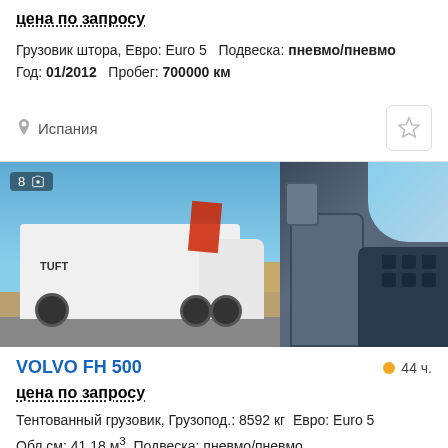цена по запросу
Грузовик штора, Евро: Euro 5  Подвеска: пневмо/пневмо
Год: 01/2012   Пробег: 700000 км
Испания
[Figure (photo): White Volvo FH box truck with TUFT branding, parked outdoors]
[Figure (photo): Interior of truck cab showing seats and dashboard]
VOLVO FH 500
44 ч.
цена по запросу
Тентованный грузовик, Грузопод.: 8592 кг  Евро: Euro 5
Объ.см: 41.18 м3  Подвеска: пневмо/пневмо